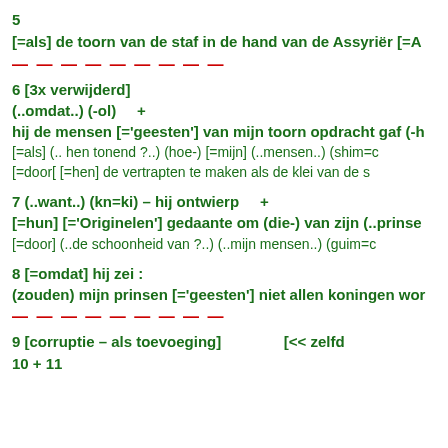5
[=als] de toorn van de staf in de hand van de Assyriër [=A
— — — — — — — — —
6 [3x verwijderd]
(..omdat..) (-ol)     +
hij de mensen [='geesten'] van mijn toorn opdracht gaf (-h
[=als] (.. hen tonend ?..) (hoe-) [=mijn] (..mensen..) (shim=c
[=door[ [=hen] de vertrapten te maken als de klei van de s
7 (..want..) (kn=ki) – hij ontwierp     +
[=hun] [='Originelen'] gedaante om (die-) van zijn (..prinse
[=door] (..de schoonheid van ?..) (..mijn mensen..) (guim=c
8 [=omdat] hij zei :
(zouden) mijn prinsen [='geesten'] niet allen koningen wor
— — — — — — — — —
9 [corruptie – als toevoeging]          [<< zelfd
10 + 11